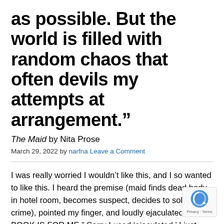as possible. But the world is filled with random chaos that often devils my attempts at arrangement.”
The Maid by Nita Prose
March 29, 2022 by narfna Leave a Comment
I was really worried I wouldn’t like this, and I so wanted to like this. I heard the premise (maid finds dead body in hotel room, becomes suspect, decides to solve crime), pointed my finger, and loudly ejaculated, “THAT BOOK IS FOR ME.” Sorry I used ‘ejaculated,’ I just never have before (I don’t think?) and it was calling to me. I’ve been reading too much historical fiction set in 19th century England lately. People were always ejaculating back then*. *I could not type this with […]